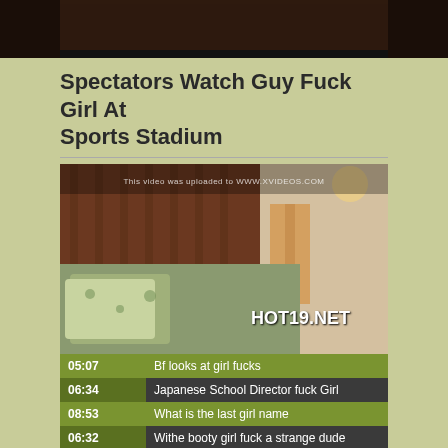[Figure (photo): Dark adult content video thumbnail at top of page]
Spectators Watch Guy Fuck Girl At Sports Stadium
[Figure (screenshot): Video player showing bedroom scene with watermark 'This video was uploaded to WWW.XVIDEOS.COM' and HOT19.NET branding]
05:07  Bf looks at girl fucks
06:34  Japanese School Director fuck Girl
08:53  What is the last girl name
06:32  Withe booty girl fuck a strange dude
03:55  Lift this chinese girl and fuck her tight pussy
16:42  Great looking big boobs girl filled with shaft